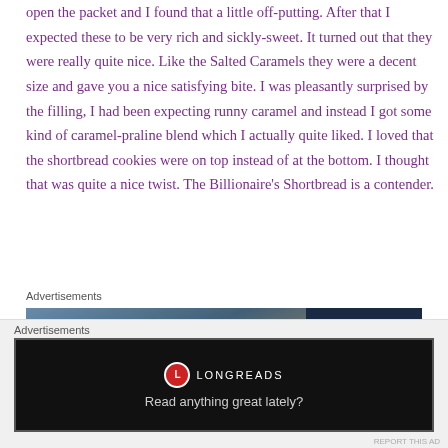open the packet and I found that a little off-putting. After that I expected these to be very rich and sickly-sweet. It turned out that they were really quite nice. Like the Salted Caramels they were a decent size and gave you a nice satisfying bite. I was pleasantly surprised by the filling, I had been expecting runny caramel and instead I got some kind of caramel-praline blend which I actually quite liked. I loved that the shortbread cookies were on top instead of at the bottom. I thought that was quite a nice twist. The Billionaire's Shortbread is a contender.
Advertisements
[Figure (photo): Advertisement banner with a blurry street/person photo on the left and a dark navy panel with a white 'P' letter logo on the right]
Advertisements
[Figure (other): Longreads advertisement: dark background with Longreads logo and text 'Read anything great lately?']